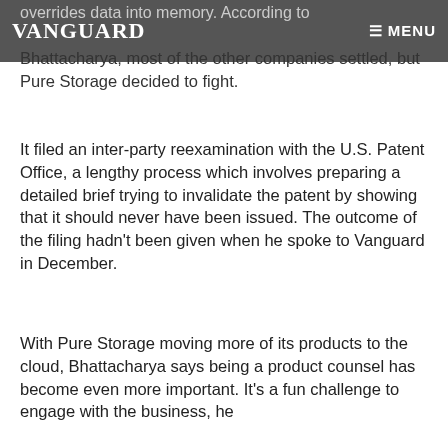VANGUARD   ☰ MENU
overrides data into memory. According to Bhattacharya, most of the other companies settled, but Pure Storage decided to fight.
It filed an inter-party reexamination with the U.S. Patent Office, a lengthy process which involves preparing a detailed brief trying to invalidate the patent by showing that it should never have been issued. The outcome of the filing hadn't been given when he spoke to Vanguard in December.
With Pure Storage moving more of its products to the cloud, Bhattacharya says being a product counsel has become even more important. It's a fun challenge to engage with the business, he